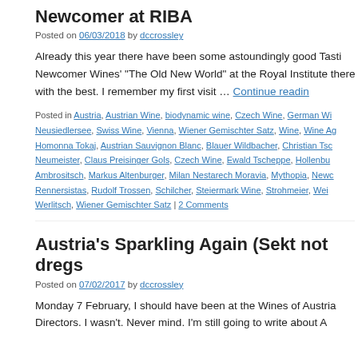Newcomer at RIBA
Posted on 06/03/2018 by dccrossley
Already this year there have been some astoundingly good Tasti Newcomer Wines' “The Old New World” at the Royal Institute there with the best. I remember my first visit … Continue reading
Posted in Austria, Austrian Wine, biodynamic wine, Czech Wine, German Wi Neusiedlersee, Swiss Wine, Vienna, Wiener Gemischter Satz, Wine, Wine Ag Homonna Tokaj, Austrian Sauvignon Blanc, Blauer Wildbacher, Christian Tsc Neumeister, Claus Preisinger Gols, Czech Wine, Ewald Tscheppe, Hollenbu Ambrositsch, Markus Altenburger, Milan Nestarech Moravia, Mythopia, Newc Rennersistas, Rudolf Trossen, Schilcher, Steiermark Wine, Strohmeier, Wei Werlitsch, Wiener Gemischter Satz | 2 Comments
Austria’s Sparkling Again (Sekt not dregs
Posted on 07/02/2017 by dccrossley
Monday 7 February, I should have been at the Wines of Austria Directors. I wasn’t. Never mind. I’m still going to write about A